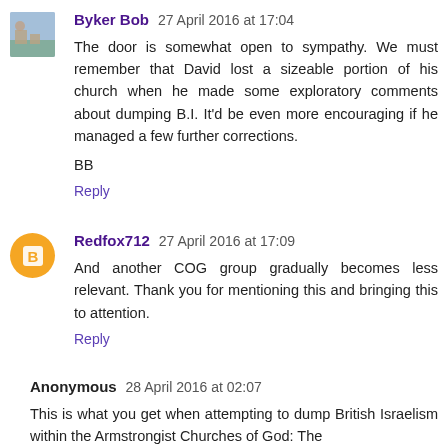Byker Bob 27 April 2016 at 17:04
The door is somewhat open to sympathy. We must remember that David lost a sizeable portion of his church when he made some exploratory comments about dumping B.I. It'd be even more encouraging if he managed a few further corrections.
BB
Reply
Redfox712 27 April 2016 at 17:09
And another COG group gradually becomes less relevant. Thank you for mentioning this and bringing this to attention.
Reply
Anonymous 28 April 2016 at 02:07
This is what you get when attempting to dump British Israelism within the Armstrongist Churches of God: The